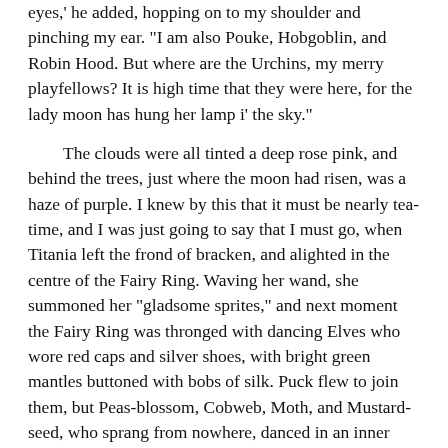eyes,' he added, hopping on to my shoulder and pinching my ear. "I am also Pouke, Hobgoblin, and Robin Hood. But where are the Urchins, my merry playfellows? It is high time that they were here, for the lady moon has hung her lamp i' the sky."
The clouds were all tinted a deep rose pink, and behind the trees, just where the moon had risen, was a haze of purple. I knew by this that it must be nearly tea-time, and I was just going to say that I must go, when Titania left the frond of bracken, and alighted in the centre of the Fairy Ring. Waving her wand, she summoned her "gladsome sprites," and next moment the Fairy Ring was thronged with dancing Elves who wore red caps and silver shoes, with bright green mantles buttoned with bobs of silk. Puck flew to join them, but Peas-blossom, Cobweb, Moth, and Mustard-seed, who sprang from nowhere, danced in an inner circle round the Fairy Queen. They sang as they danced, and this is their song. I found it afterwards in a book of Father's, which he said had in it more wonderful things than all books in the world but one:
"By the moon we sport and play,
With the night begins our day.
As we frisk the dew doth fall,